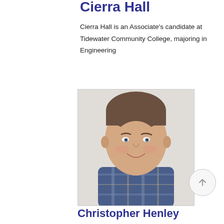Cierra Hall
Cierra Hall is an Associate’s candidate at Tidewater Community College, majoring in Engineering
[Figure (photo): Headshot photo of Christopher Henley, a man in a blue plaid shirt smiling at the camera against a light background]
Christopher Henley
Christopher Henley is an Associate’s candidate